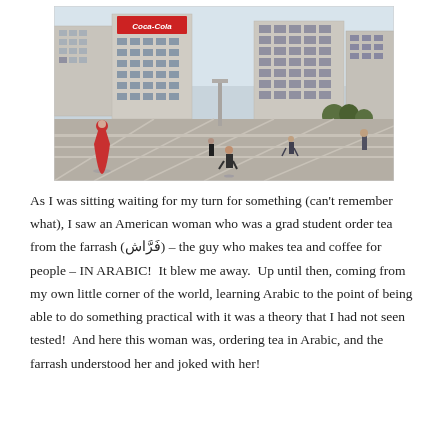[Figure (photo): Street scene of a large open plaza in Cairo (Tahrir Square), with people walking across the pavement, multi-story buildings in the background including a Coca-Cola billboard, trees, and a woman in a red dress/hijab on the left.]
As I was sitting waiting for my turn for something (can't remember what), I saw an American woman who was a grad student order tea from the farrash (فَرَّاش) – the guy who makes tea and coffee for people – IN ARABIC!  It blew me away.  Up until then, coming from my own little corner of the world, learning Arabic to the point of being able to do something practical with it was a theory that I had not seen tested!  And here this woman was, ordering tea in Arabic, and the farrash understood her and joked with her!